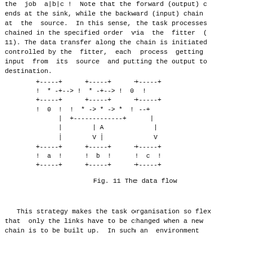the job a|b|c !  Note that the forward (output) chain ends at the sink, while the backward (input) chain at the source.  In this sense, the task processes chained in the specified order  via  the  fitter ( 11). The data transfer along the chain is initiated controlled by the  fitter,  each  process  getting input  from  its  source  and putting the output to destination.
[Figure (schematic): ASCII art diagram showing data flow between three boxes labeled a, b, c with forward and backward chain connections through an intermediate node A]
Fig. 11  The data flow
This strategy makes the task organisation so flex that  only the links have to be changed when a new chain is to be built up. In such an  environment